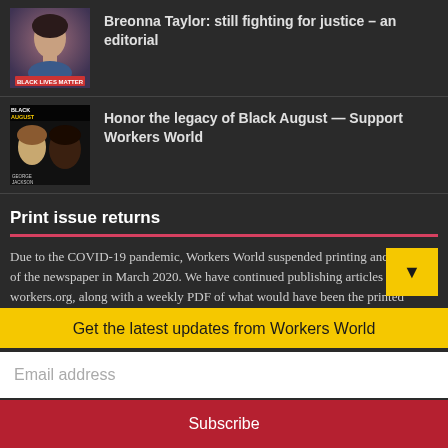[Figure (photo): Breonna Taylor portrait illustration with BLM colors]
Breonna Taylor: still fighting for justice – an editorial
[Figure (photo): Black August collage with multiple faces]
Honor the legacy of Black August — Support Workers World
Print issue returns
Due to the COVID-19 pandemic, Workers World suspended printing and mailing of the newspaper in March 2020. We have continued publishing articles on workers.org, along with a weekly PDF of what would have been the printed version. We are pleased to announce that we have resumed printing and mailing on a monthly basis, for now. Subscribers should have received a printed paper since September 2021. Print subscriptions will still be extended in consideration of the temporary suspension of printing and the
Get the latest updates from Workers World
Email address
Subscribe